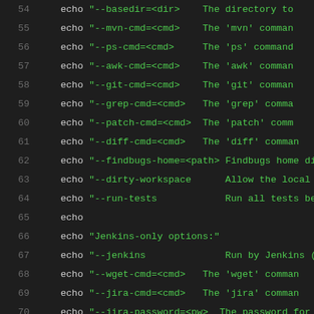Source code listing, lines 54–75, shell script with echo statements and function definitions